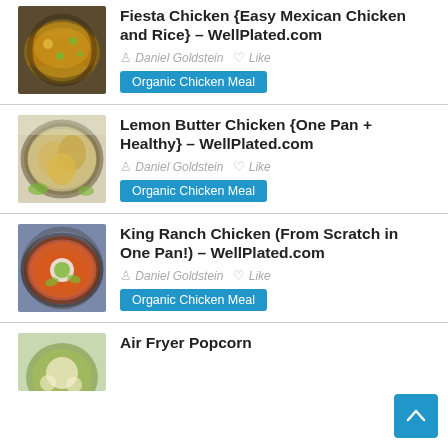[Figure (photo): Food photo: Fiesta chicken and rice in a cast iron skillet, top-down view]
Fiesta Chicken {Easy Mexican Chicken and Rice} – WellPlated.com
Daniel Goldstein  ♡ Like
Organic Chicken Meal
[Figure (photo): Food photo: Lemon butter chicken breasts in a dark pan, top-down view]
Lemon Butter Chicken {One Pan + Healthy} – WellPlated.com
Daniel Goldstein  ♡ Like
Organic Chicken Meal
[Figure (photo): Food photo: King Ranch chicken casserole with avocado slices in a skillet]
King Ranch Chicken (From Scratch in One Pan!) – WellPlated.com
Daniel Goldstein  ♡ Like
Organic Chicken Meal
[Figure (photo): Food photo: Air Fryer Popcorn dish (partially visible)]
Air Fryer Popcorn